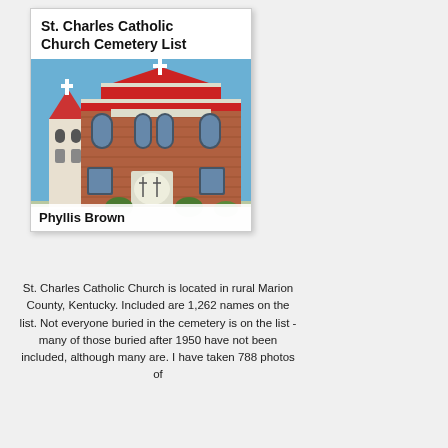St. Charles Catholic Church Cemetery List
[Figure (photo): Photo of St. Charles Catholic Church, a brick building with a red roof and white bell tower with cross on top, blue sky background. Author name 'Phyllis Brown' overlaid at bottom.]
St. Charles Catholic Church is located in rural Marion County, Kentucky. Included are 1,262 names on the list. Not everyone buried in the cemetery is on the list - many of those buried after 1950 have not been included, although many are. I have taken 788 photos of